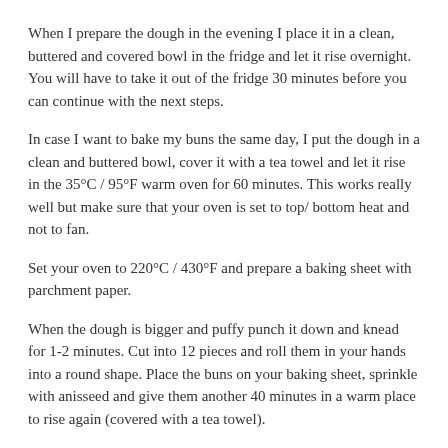When I prepare the dough in the evening I place it in a clean, buttered and covered bowl in the fridge and let it rise overnight. You will have to take it out of the fridge 30 minutes before you can continue with the next steps.
In case I want to bake my buns the same day, I put the dough in a clean and buttered bowl, cover it with a tea towel and let it rise in the 35°C / 95°F warm oven for 60 minutes. This works really well but make sure that your oven is set to top/ bottom heat and not to fan.
Set your oven to 220°C / 430°F and prepare a baking sheet with parchment paper.
When the dough is bigger and puffy punch it down and knead for 1-2 minutes. Cut into 12 pieces and roll them in your hands into a round shape. Place the buns on your baking sheet, sprinkle with anisseed and give them another 40 minutes in a warm place to rise again (covered with a tea towel).
Bake the buns for 6 minutes, take the temperature down to 200°C / 390°F and bake them for another 7-10 minutes or until golden brown. Let them cool for a couple minutes.